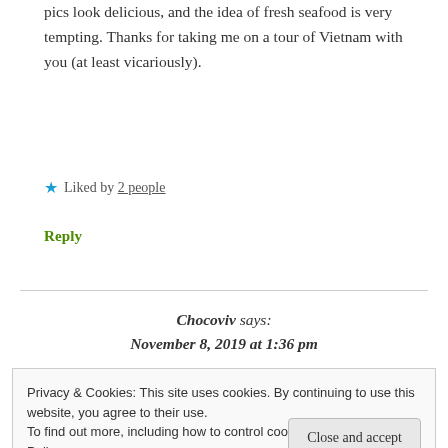pics look delicious, and the idea of fresh seafood is very tempting. Thanks for taking me on a tour of Vietnam with you (at least vicariously).
★ Liked by 2 people
Reply
Chocoviv says: November 8, 2019 at 1:36 pm
Privacy & Cookies: This site uses cookies. By continuing to use this website, you agree to their use.
To find out more, including how to control cookies, see here: Cookie Policy